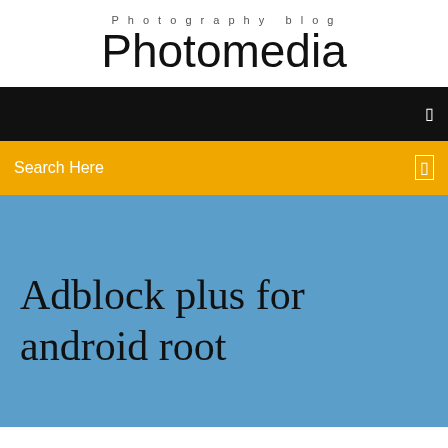Photography blog
Photomedia
[Figure (screenshot): Black navigation bar with a small white icon on the right]
[Figure (screenshot): Yellow/amber search bar with 'Search Here' text on the left and a small white icon on the right]
Adblock plus for android root